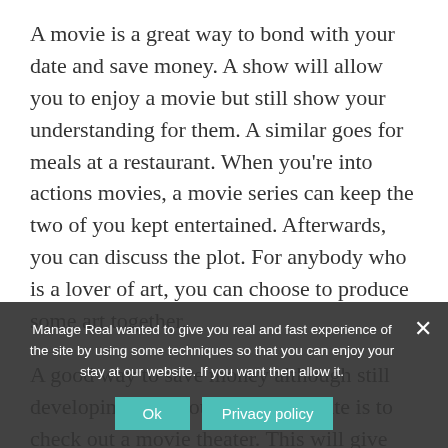A movie is a great way to bond with your date and save money. A show will allow you to enjoy a movie but still show your understanding for them. A similar goes for meals at a restaurant. When you’re into actions movies, a movie series can keep the two of you kept entertained. Afterwards, you can discuss the plot. For anybody who is a lover of art, you can choose to produce some art together.
A good way to save money although still developing with your particular date is to check out a movie theater. This will give you time to discuss and will win over your particular date. This is the for couples who want to save money while spending quality time with their partner. This is a great way to use a romantic nighttime while watching a movie. If you’re in a town, you will possibly not have a lot of space in your house to look at a movie, make an effort watching a image novel, or maybe a short scenario.
Manage Real wanted to give you real and fast experience of the site by using some techniques so that you can enjoy your stay at our website. If you want then allow it.